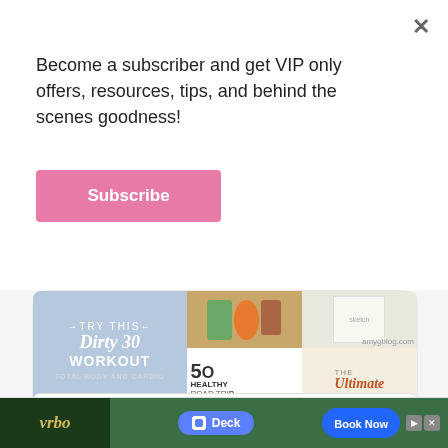Become a subscriber and get VIP only offers, resources, tips, and behind the scenes goodness!
Subscribe
[Figure (screenshot): Pinterest widget showing a grid of blog post images including 'Dirty 30 Workout', '50 Healthy Road Trip' snacks, and 'The Ultimate' guide, with a 'Follow On Pinterest' button below]
Follow On Pinterest
Search ...
[Figure (screenshot): VRBO advertisement banner showing outdoor deck venue booking with 'Book Now' button]